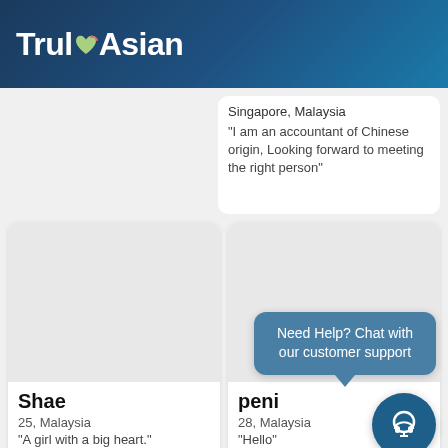TrulyAsian
Singapore, Malaysia
"I am an accountant of Chinese origin, Looking forward to meeting the right person"
[Figure (photo): Profile photo placeholder - grey rectangle, left card top row]
[Figure (photo): Profile photo placeholder - grey rectangle, Shae profile]
Shae
25, Malaysia
"A girl with a big heart."
[Figure (photo): Profile photo placeholder - grey rectangle, peni profile]
peni
28, Malaysia
"Hello"
Need Help? Chat with our customer support